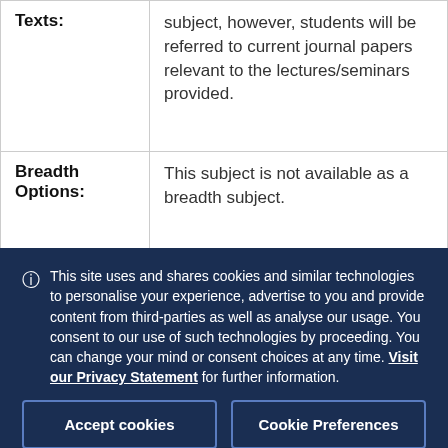| Texts: | subject, however, students will be referred to current journal papers relevant to the lectures/seminars provided. |
| Breadth Options: | This subject is not available as a breadth subject. |
This site uses and shares cookies and similar technologies to personalise your experience, advertise to you and provide content from third-parties as well as analyse our usage. You consent to our use of such technologies by proceeding. You can change your mind or consent choices at any time. Visit our Privacy Statement for further information.
Accept cookies
Cookie Preferences